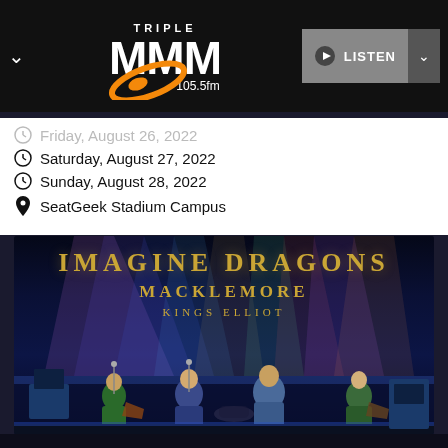[Figure (logo): Triple MMM 105.5fm radio station logo with orange swoosh, white text on black navigation bar]
Saturday, August 27, 2022
Sunday, August 28, 2022
SeatGeek Stadium Campus
[Figure (photo): Concert promotional image for Imagine Dragons, Macklemore, and Kings Elliot at SeatGeek Stadium Campus. Dark blue stage background with colorful light beams and band performing on stage.]